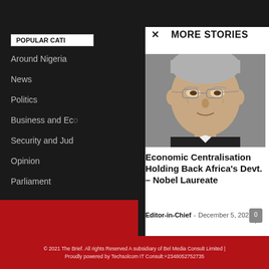POPULAR CATE
Around Nigeria
News
Politics
Business and Eco
Security and Jud
Opinion
Parliament
MORE STORIES
[Figure (photo): Close-up portrait of an elderly man with glasses, gray hair, smiling slightly, wearing a dark suit]
Economic Centralisation Holding Back Africa’s Devt. – Nobel Laureate
Editor-in-Chief  -  December 5, 2021
© 2021 The Brief. All rights Reserved A subsidiary of Bel Media Consult Limited | Proudly powered by Techsolcom IT Consult:+2348052752735